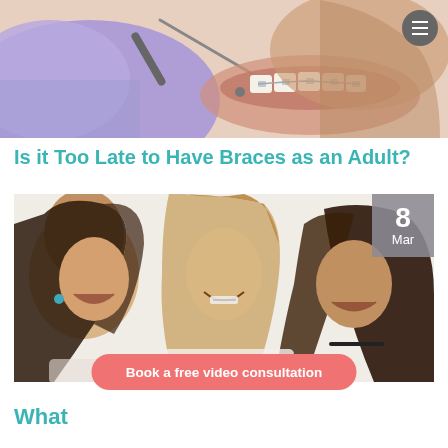[Figure (photo): Close-up photo of a dentist in purple gloves working on a patient who has braces, with dental tools visible. A hamburger menu icon is in the top right corner.]
Is it Too Late to Have Braces as an Adult?
[Figure (photo): Three young women smiling and laughing together, one in the center wearing braces. A date badge showing '8 Mar' is in the top right corner of the image.]
Book a free video consultation
What